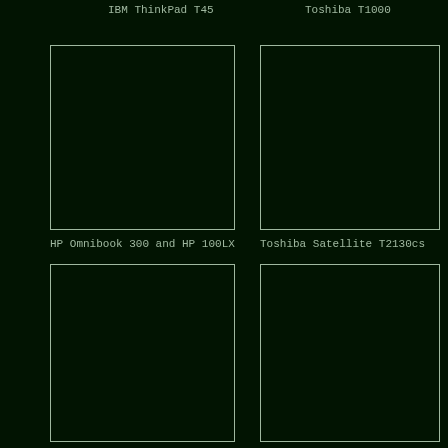IBM ThinkPad T45
Toshiba T1000
[Figure (photo): Empty dark photo placeholder for HP Omnibook 300 and HP 100LX]
[Figure (photo): Empty dark photo placeholder for Toshiba Satellite T2130cs]
HP Omnibook 300 and HP 100LX
Toshiba Satellite T2130cs
[Figure (photo): Empty dark photo placeholder (bottom left)]
[Figure (photo): Empty dark photo placeholder (bottom right)]